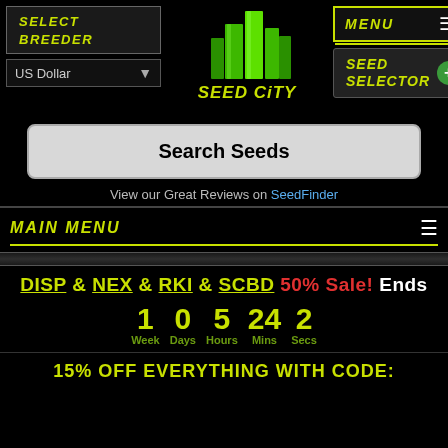SELECT BREEDER
[Figure (logo): Seed City logo - green 3D city buildings with Seed City text]
MENU
US Dollar
SEED SELECTOR +
Search Seeds
View our Great Reviews on SeedFinder
MAIN MENU
DISP & NEX & RKI & SCBD 50% Sale! Ends
1 Week  0 Days  5 Hours  24 Mins  2 Secs
15% OFF EVERYTHING WITH CODE: